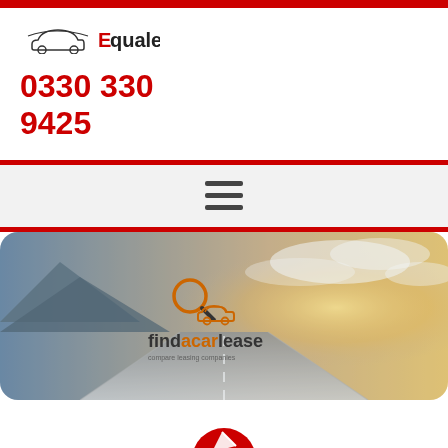[Figure (logo): Equalease company logo with car silhouette above text]
0330 330
9425
[Figure (other): Hamburger menu icon (three horizontal lines)]
[Figure (photo): Hero banner showing a road with mountains and sunset, overlaid with findacarlease logo (magnifying glass with car icon) and text 'findacarlease']
[Figure (logo): Partial red logo/icon visible at bottom center of page]